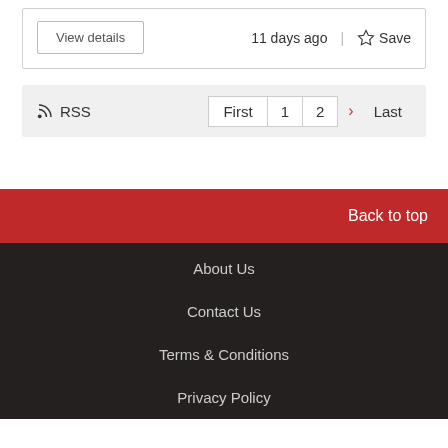View details   11 days ago  |  ☆ Save
RSS  First  1  2  >  Last
Back to top
About Us
Contact Us
Terms & Conditions
Privacy Policy